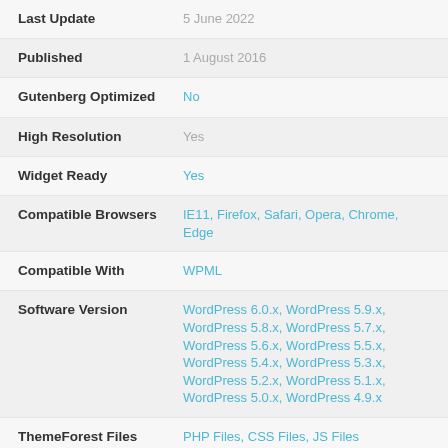Last Update: 5 June 2022
Published: 1 August 2016
Gutenberg Optimized: No
High Resolution: Yes
Widget Ready: Yes
Compatible Browsers: IE11, Firefox, Safari, Opera, Chrome, Edge
Compatible With: WPML
Software Version: WordPress 6.0.x, WordPress 5.9.x, WordPress 5.8.x, WordPress 5.7.x, WordPress 5.6.x, WordPress 5.5.x, WordPress 5.4.x, WordPress 5.3.x, WordPress 5.2.x, WordPress 5.1.x, WordPress 5.0.x, WordPress 4.9.x
ThemeForest Files: PHP Files, CSS Files, JS Files